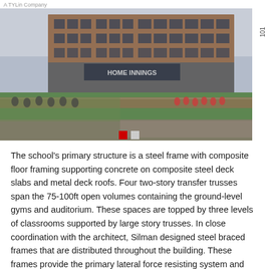A TYLin Company
[Figure (photo): Architectural rendering of a school building with brick facade and large windows, showing a football field in the foreground with players and spectators. Navigation dots visible at bottom of image.]
The school's primary structure is a steel frame with composite floor framing supporting concrete on composite steel deck slabs and metal deck roofs. Four two-story transfer trusses span the 75-100ft open volumes containing the ground-level gyms and auditorium. These spaces are topped by three levels of classrooms supported by large story trusses. In close coordination with the architect, Silman designed steel braced frames that are distributed throughout the building. These frames provide the primary lateral force resisting system and will